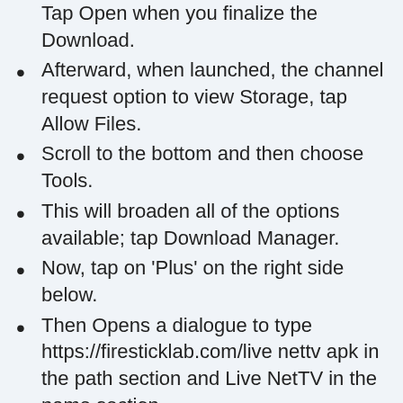Tap Open when you finalize the Download.
Afterward, when launched, the channel request option to view Storage, tap Allow Files.
Scroll to the bottom and then choose Tools.
This will broaden all of the options available; tap Download Manager.
Now, tap on ‘Plus’ on the right side below.
Then Opens a dialogue to type https://firesticklab.com/live nettv apk in the path section and Live NetTV in the name section.
Just tap Download after this.
Wait a while before the file is downloaded, and tap Open File.
In the next window, tap the Install button.
It will launch the download window, so tap